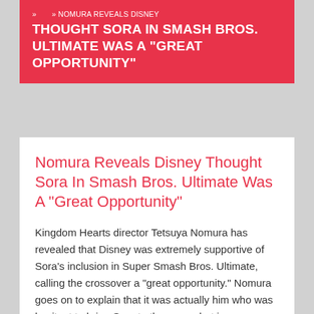» » NOMURA REVEALS DISNEY THOUGHT SORA IN SMASH BROS. ULTIMATE WAS A "GREAT OPPORTUNITY"
Nomura Reveals Disney Thought Sora In Smash Bros. Ultimate Was A "Great Opportunity"
Kingdom Hearts director Tetsuya Nomura has revealed that Disney was extremely supportive of Sora's inclusion in Super Smash Bros. Ultimate, calling the crossover a "great opportunity." Nomura goes on to explain that it was actually him who was hesitant to bring Sora to the game, but is now thankful he did due to the character's popularity and the